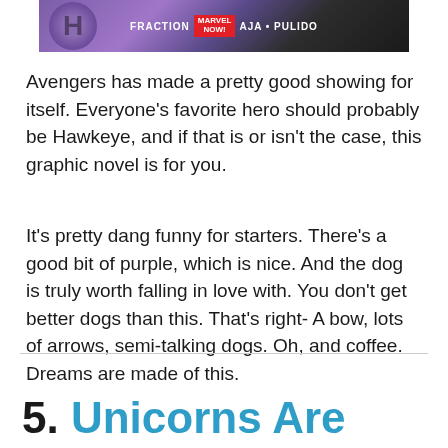[Figure (illustration): Comic book cover strip showing Hawkeye Marvel NOW! comic by Fraction, Aja, and Pulido with purple tones and diagonal striped design]
Avengers has made a pretty good showing for itself. Everyone's favorite hero should probably be Hawkeye, and if that is or isn't the case, this graphic novel is for you.
It's pretty dang funny for starters. There's a good bit of purple, which is nice. And the dog is truly worth falling in love with. You don't get better dogs than this. That's right- A bow, lots of arrows, semi-talking dogs. Oh, and coffee. Dreams are made of this.
5. Unicorns Are